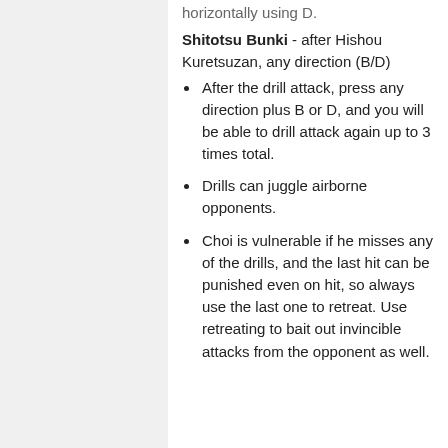horizontally using D.
Shitotsu Bunki - after Hishou Kuretsuzan, any direction (B/D)
After the drill attack, press any direction plus B or D, and you will be able to drill attack again up to 3 times total.
Drills can juggle airborne opponents.
Choi is vulnerable if he misses any of the drills, and the last hit can be punished even on hit, so always use the last one to retreat. Use retreating to bait out invincible attacks from the opponent as well.